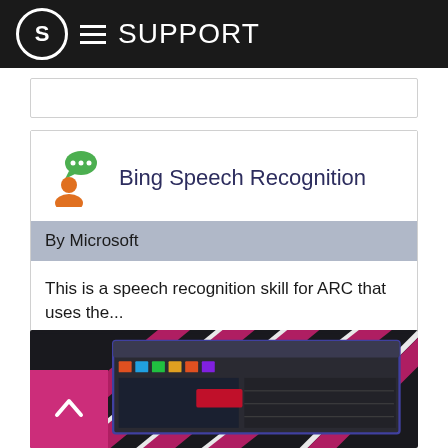S SUPPORT
Bing Speech Recognition
By Microsoft
This is a speech recognition skill for ARC that uses the...
[Figure (screenshot): Screenshot of a software application with dark UI, showing video editing or robotic programming interface with colorful controls, overlaid on pink/magenta diagonal stripes. A pink back-to-top button with an up arrow is in the bottom left.]